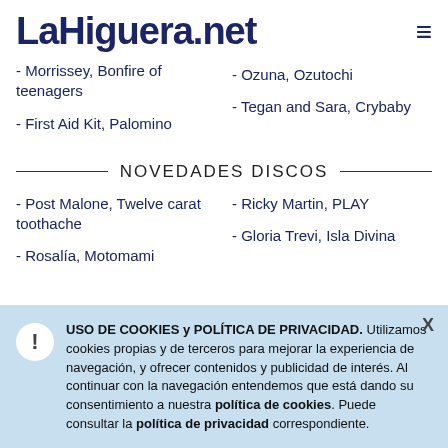LaHiguera.net
- Morrissey, Bonfire of teenagers
- Ozuna, Ozutochi
- First Aid Kit, Palomino
- Tegan and Sara, Crybaby
NOVEDADES DISCOS
- Post Malone, Twelve carat toothache
- Ricky Martin, PLAY
- Rosalía, Motomami
- Gloria Trevi, Isla Divina
USO DE COOKIES y POLÍTICA DE PRIVACIDAD. Utilizamos cookies propias y de terceros para mejorar la experiencia de navegación, y ofrecer contenidos y publicidad de interés. Al continuar con la navegación entendemos que está dando su consentimiento a nuestra política de cookies. Puede consultar la política de privacidad correspondiente.